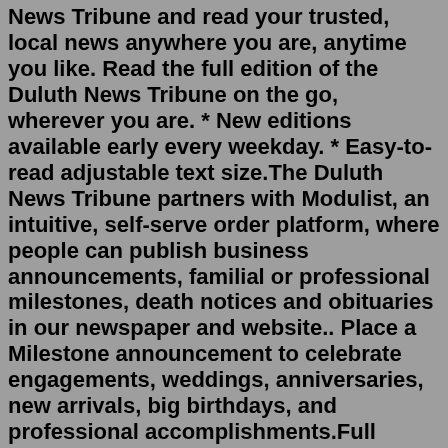News Tribune and read your trusted, local news anywhere you are, anytime you like. Read the full edition of the Duluth News Tribune on the go, wherever you are. * New editions available early every weekday. * Easy-to-read adjustable text size.The Duluth News Tribune partners with Modulist, an intuitive, self-serve order platform, where people can publish business announcements, familial or professional milestones, death notices and obituaries in our newspaper and website.. Place a Milestone announcement to celebrate engagements, weddings, anniversaries, new arrivals, big birthdays, and professional accomplishments.Full obituary, www.NewcomerKentuckiana.com. Newcomer Funeral Home. Published in News and Tribune on July 21, 2022. William "Bill" M. Farnsley. 1929 - 2022 Death Notice. New Albany. William "Bill" Marion Farnsley, age 92, of New Albany, Indiana passed away on, July 11, 2022. Visitation will be on Saturday, July 16, 2022 from 2-6 pm at Kraft ...How to Search Duluth News Tribune Obituary Archives. Looking up